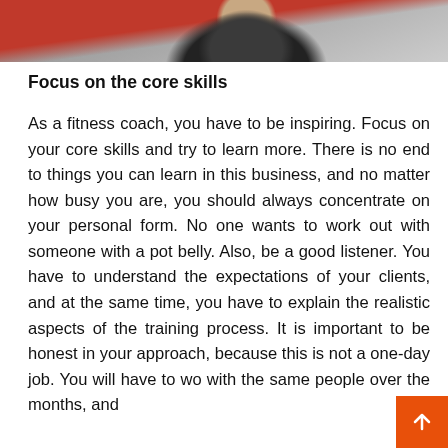[Figure (photo): Cropped photo of a person at the top of the page, partially visible, appears to be a fitness or coaching context]
Focus on the core skills
As a fitness coach, you have to be inspiring. Focus on your core skills and try to learn more. There is no end to things you can learn in this business, and no matter how busy you are, you should always concentrate on your personal form. No one wants to work out with someone with a pot belly. Also, be a good listener. You have to understand the expectations of your clients, and at the same time, you have to explain the realistic aspects of the training process. It is important to be honest in your approach, because this is not a one-day job. You will have to wo with the same people over the months, and